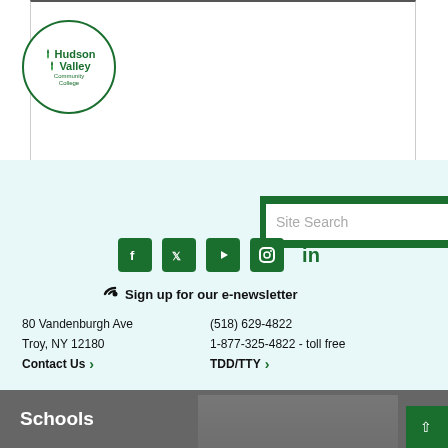[Figure (screenshot): Top portion of a web page with a bordered content box]
[Figure (logo): Hudson Valley Community College circular logo in green]
Site Search
[Figure (infographic): Social media icons: Facebook, Twitter, YouTube, Instagram, LinkedIn in green]
Sign up for our e-newsletter
80 Vandenburgh Ave
Troy, NY 12180
(518) 629-4822
1-877-325-4822 - toll free
Contact Us ›
TDD/TTY ›
Schools